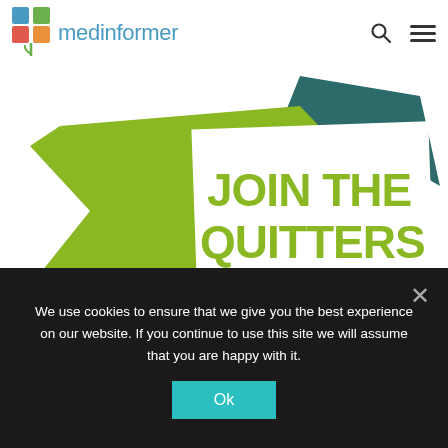medinformer
[Figure (illustration): Promotional graphic with green origami-style folded shapes and white banner text reading 'JOIN THE QUITTERS' in large bold green letters, on a white background. Teal/dark green angular shapes appear behind the main green form.]
We use cookies to ensure that we give you the best experience on our website. If you continue to use this site we will assume that you are happy with it.